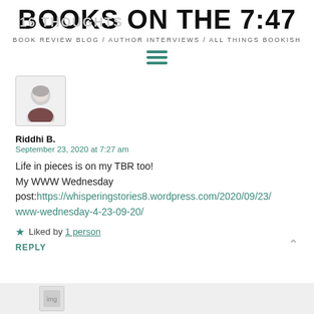BOOKS ON THE 7:47 | BOOK REVIEW BLOG / AUTHOR INTERVIEWS / ALL THINGS BOOKISH
16 THOUGHTS
[Figure (illustration): Hamburger menu icon with three teal horizontal lines]
[Figure (illustration): Circular avatar of a person with gray hair]
Riddhi B.
September 23, 2020 at 7:27 am
Life in pieces is on my TBR too! My WWW Wednesday post:https://whisperingstories8.wordpress.com/2020/09/23/www-wednesday-4-23-09-20/
Liked by 1 person
REPLY